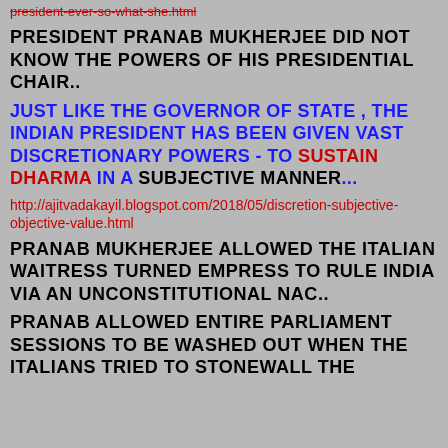president-ever-so-what-she.html (strikethrough red link)
PRESIDENT PRANAB MUKHERJEE DID NOT KNOW THE POWERS OF HIS PRESIDENTIAL CHAIR..
JUST LIKE THE GOVERNOR OF STATE , THE INDIAN PRESIDENT HAS BEEN GIVEN VAST DISCRETIONARY POWERS - TO SUSTAIN DHARMA IN A SUBJECTIVE MANNER...
http://ajitvadakayil.blogspot.com/2018/05/discretion-subjective-objective-value.html
PRANAB MUKHERJEE ALLOWED THE ITALIAN WAITRESS TURNED EMPRESS TO RULE INDIA VIA AN UNCONSTITUTIONAL NAC..
PRANAB ALLOWED ENTIRE PARLIAMENT SESSIONS TO BE WASHED OUT WHEN THE ITALIANS TRIED TO STONEWALL THE